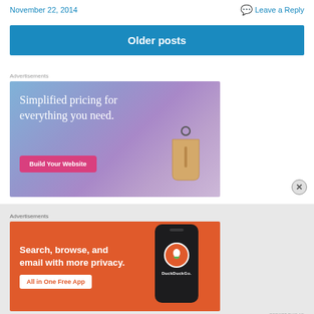November 22, 2014    Leave a Reply
Older posts
Advertisements
[Figure (illustration): Advertisement: Simplified pricing for everything you need. Build Your Website button. Shows a price tag icon. Blue-purple gradient background.]
Advertisements
[Figure (illustration): DuckDuckGo advertisement: Search, browse, and email with more privacy. All in One Free App. Orange background with phone showing DuckDuckGo logo.]